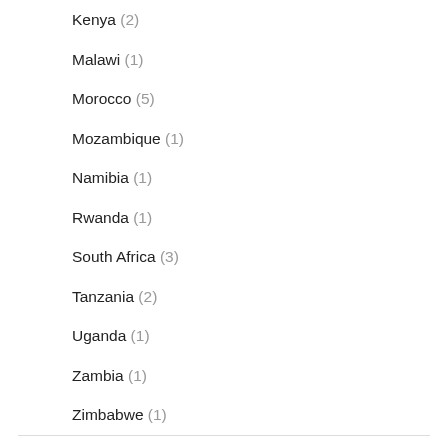Kenya (2)
Malawi (1)
Morocco (5)
Mozambique (1)
Namibia (1)
Rwanda (1)
South Africa (3)
Tanzania (2)
Uganda (1)
Zambia (1)
Zimbabwe (1)
Antarctica (2)
Asia (14)
Bhutan (2)